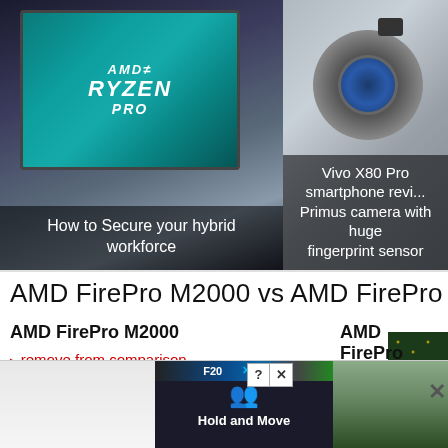[Figure (photo): AMD Ryzen Pro chip close-up photo with overlay caption 'How to Secure your hybrid workforce']
How to Secure your hybrid workforce
[Figure (photo): Vivo X80 Pro smartphone camera module photo with overlay caption about Primus camera]
Vivo X80 Pro smartphone revi... Primus camera with huge fingerprint sensor
AMD FirePro M2000 vs AMD FirePro M510...
AMD FirePro M2000
remove from comparison
AMD FirePro M5100
remove from comparison
The AMD FirePro M2000 is a lower middle-class mobile workstation graphics card with DirectX 11 support. It is based on
The AMD FirePro M5100 is a middle-class graphics card for mobile
[Figure (photo): Advertisement banner with Hold and Move game/app interface]
[Figure (photo): Circuit board thumbnail image]